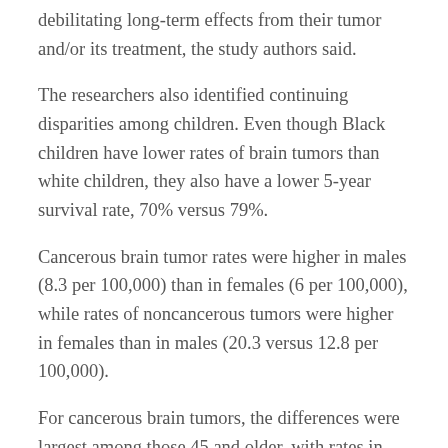debilitating long-term effects from their tumor and/or its treatment, the study authors said.
The researchers also identified continuing disparities among children. Even though Black children have lower rates of brain tumors than white children, they also have a lower 5-year survival rate, 70% versus 79%.
Cancerous brain tumor rates were higher in males (8.3 per 100,000) than in females (6 per 100,000), while rates of noncancerous tumors were higher in females than in males (20.3 versus 12.8 per 100,000).
For cancerous brain tumors, the differences were largest among those 45 and older, with rates in women 30% lower than those in men.
For noncancerous tumors, sex differences peaked in